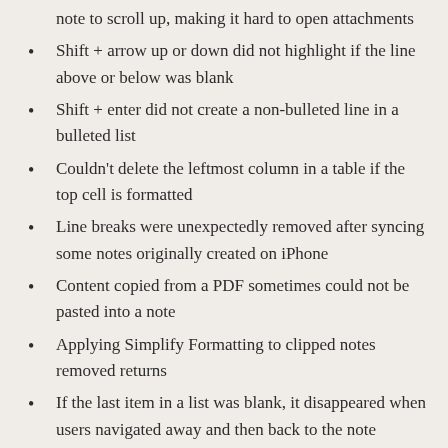note to scroll up, making it hard to open attachments
Shift + arrow up or down did not highlight if the line above or below was blank
Shift + enter did not create a non-bulleted line in a bulleted list
Couldn't delete the leftmost column in a table if the top cell is formatted
Line breaks were unexpectedly removed after syncing some notes originally created on iPhone
Content copied from a PDF sometimes could not be pasted into a note
Applying Simplify Formatting to clipped notes removed returns
If the last item in a list was blank, it disappeared when users navigated away and then back to the note